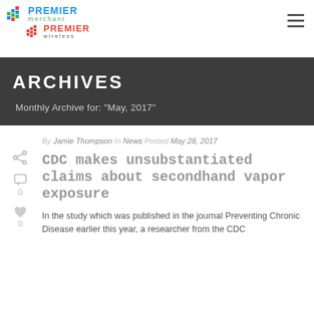Premier Merchant | Premier Wireless
ARCHIVES
Monthly Archive for: "May, 2017"
By Jamie Thompson In News Posted May 28, 2017
CDC makes unsubstantiated claims about secondhand vapor exposure
In the study which was published in the journal Preventing Chronic Disease earlier this year, a researcher from the CDC...